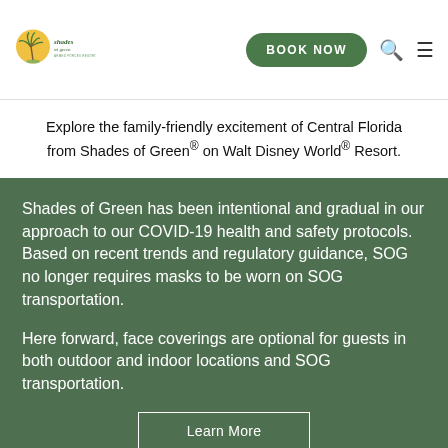[Figure (logo): Shades of Green palm tree logo with text 'shades of green']
Explore the family-friendly excitement of Central Florida from Shades of Green® on Walt Disney World® Resort.
Shades of Green has been intentional and gradual in our approach to our COVID-19 health and safety protocols. Based on recent trends and regulatory guidance, SOG no longer requires masks to be worn on SOG transportation.
Here forward, face coverings are optional for guests in both outdoor and indoor locations and SOG transportation.